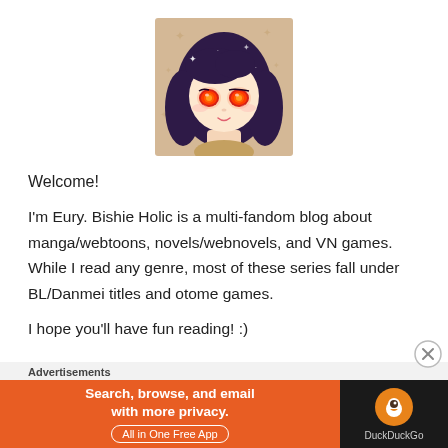[Figure (illustration): Anime-style chibi character with dark purple hair and glowing red eyes, wearing a light-colored top, on a decorative background]
Welcome!
I'm Eury. Bishie Holic is a multi-fandom blog about manga/webtoons, novels/webnovels, and VN games. While I read any genre, most of these series fall under BL/Danmei titles and otome games.
I hope you'll have fun reading! :)
Advertisements
[Figure (screenshot): DuckDuckGo advertisement banner: orange section with text 'Search, browse, and email with more privacy. All in One Free App' and dark section with DuckDuckGo logo]